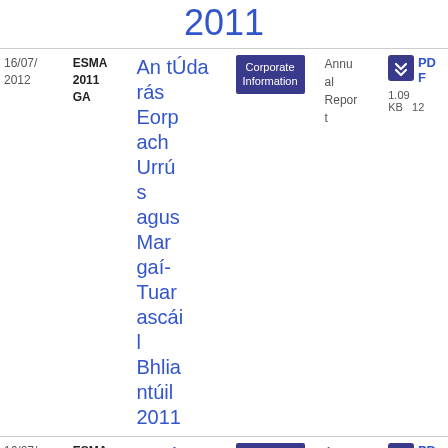2011
| Date | Org | Title | Tag | Type | File |
| --- | --- | --- | --- | --- | --- |
| 16/07/2012 | ESMA 2011 GA | An tÚdarás Eorpach Urrús agus Margaí- Tuarascáil Bhliantúil 2011 | Corporate Information | Annual Report | PDF 1.09 KB 12 |
| 16/07/2012 | ESMA 2011 | Euró pai | Corporate Information | Annual Report | PDF |